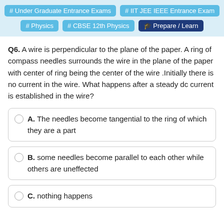# Under Graduate Entrance Exams  # IIT JEE IEEE Entrance Exam  # Physics  # CBSE 12th Physics  Prepare / Learn
Q6. A wire is perpendicular to the plane of the paper. A ring of compass needles surrounds the wire in the plane of the paper with center of ring being the center of the wire .Initially there is no current in the wire. What happens after a steady dc current is established in the wire?
A. The needles become tangential to the ring of which they are a part
B. some needles become parallel to each other while others are uneffected
C. nothing happens